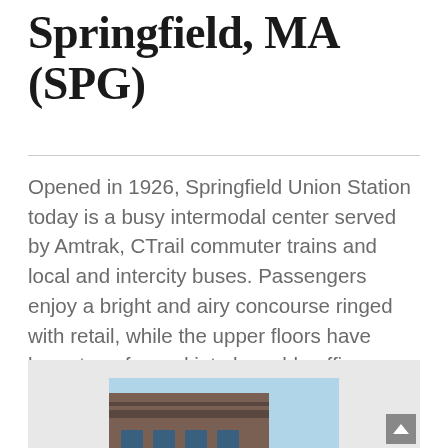Springfield, MA (SPG)
Opened in 1926, Springfield Union Station today is a busy intermodal center served by Amtrak, CTrail commuter trains and local and intercity buses. Passengers enjoy a bright and airy concourse ringed with retail, while the upper floors have been transformed into leasable office space.
[Figure (photo): Exterior photo of Springfield Union Station building showing brick facade with horizontal stone bands and blue windows against a light blue sky]